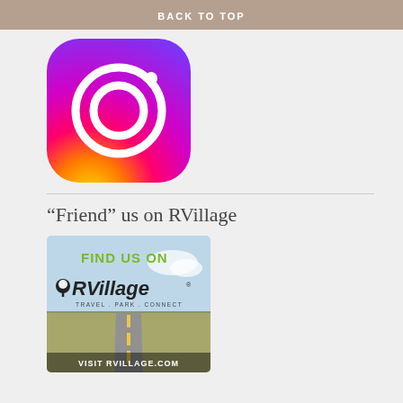BACK TO TOP
[Figure (logo): Instagram app icon with gradient background (purple to orange) and white camera outline]
[Figure (logo): RVillage banner ad: 'FIND US ON RVillage TRAVEL . PARK . CONNECT' with road photo and 'VISIT RVILLAGE.COM']
“Friend” us on RVillage